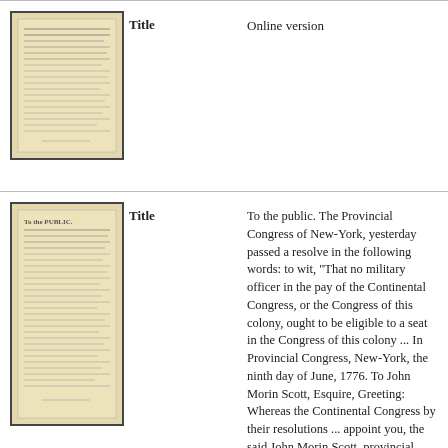[Figure (photo): Thumbnail of a historical document page with dense text, aged/yellowed paper appearance, framed with dark border]
Title
Online version
[Figure (photo): Thumbnail of a historical document page titled 'To the Public', with dense handwritten/printed text, aged paper, dark border]
Title
To the public. The Provincial Congress of New-York, yesterday passed a resolve in the following words: to wit, "That no military officer in the pay of the Continental Congress, or the Congress of this colony, ought to be eligible to a seat in the Congress of this colony ... In Provincial Congress, New-York, the ninth day of June, 1776. To John Morin Scott, Esquire, Greeting: Whereas the Continental Congress by their resolutions ... appoint you, the said John Morin Scott, provincial brigadier general
Creator / Contributor
Scott, John Morin ; 1730-1784 ; New York (Colony) ; Provincial Congress
[Figure (photo): Partial thumbnail of a historical document, partially visible at bottom of page]